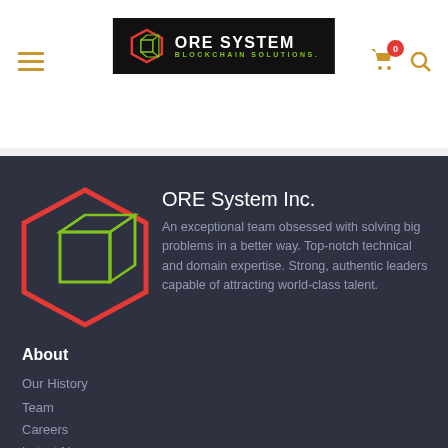ORE SYSTEM BLOCKCHAIN SOLUTIONS. — navigation header with menu, logo, cart (0), and search icons
[Figure (logo): ORE System Inc. hexagon logo — red and green wireframe cube inside red hexagon outline]
ORE System Inc.
An exceptional team obsessed with solving big problems in a better way. Top-notch technical and domain expertise. Strong, authentic leaders capable of attracting world-class talent.
About
Our History
Team
Careers
Latest News